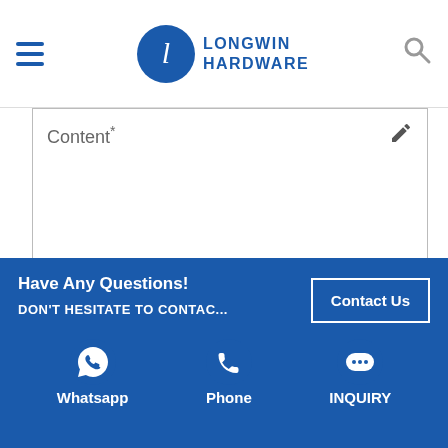Longwin Hardware
Content*
Send
Have Any Questions!
DON'T HESITATE TO CONTAC...
Contact Us
Whatsapp
Phone
INQUIRY